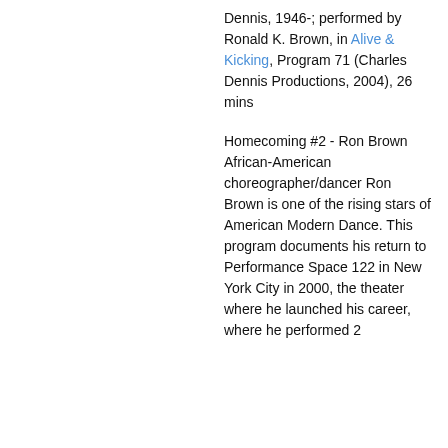Dennis, 1946-; performed by Ronald K. Brown, in Alive & Kicking, Program 71 (Charles Dennis Productions, 2004), 26 mins
Homecoming #2 - Ron Brown African-American choreographer/dancer Ron Brown is one of the rising stars of American Modern Dance. This program documents his return to Performance Space 122 in New York City in 2000, the theater where he launched his career, where he performed 2